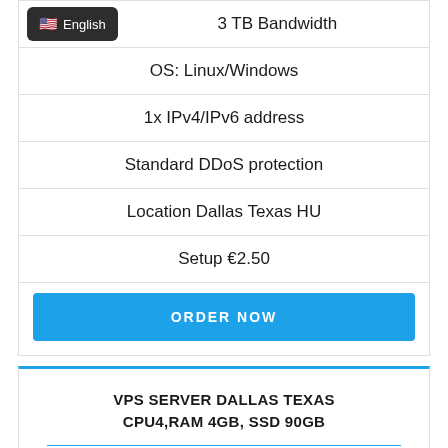3 TB Bandwidth
OS: Linux/Windows
1x IPv4/IPv6 address
Standard DDoS protection
Location Dallas Texas HU
Setup €2.50
ORDER NOW
VPS SERVER DALLAS TEXAS CPU4,RAM 4GB, SSD 90GB
€ 34.50 /Month